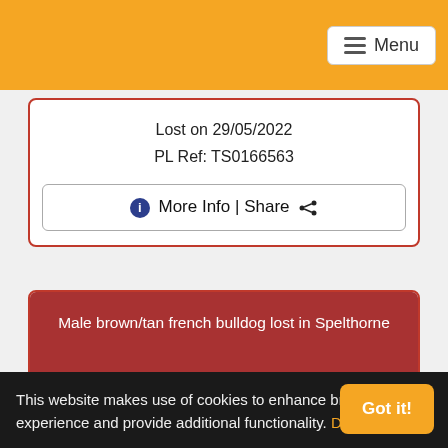Menu
Lost on 29/05/2022
PL Ref: TS0166563
ℹ More Info | Share
Male brown/tan french bulldog lost in Spelthorne
" ELTON "
This website makes use of cookies to enhance browsing experience and provide additional functionality. Details
Got it!